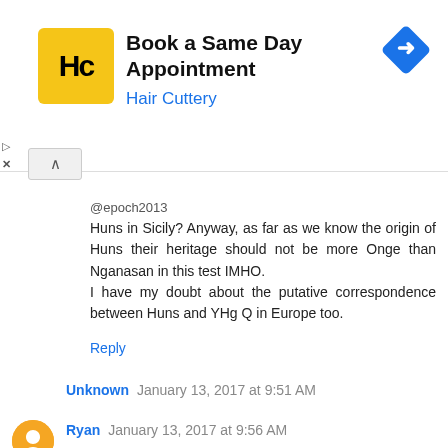[Figure (infographic): Hair Cuttery advertisement banner: yellow square logo with HC text, title 'Book a Same Day Appointment', subtitle 'Hair Cuttery', and blue navigation diamond icon on the right]
@epoch2013
Huns in Sicily? Anyway, as far as we know the origin of Huns their heritage should not be more Onge than Nganasan in this test IMHO.
I have my doubt about the putative correspondence between Huns and YHg Q in Europe too.
Reply
Unknown  January 13, 2017 at 9:51 AM
David, I think it's due to a deeper BE source. Adding Levantine Neolithic and removing Onge should work.
Reply
Ryan  January 13, 2017 at 9:56 AM